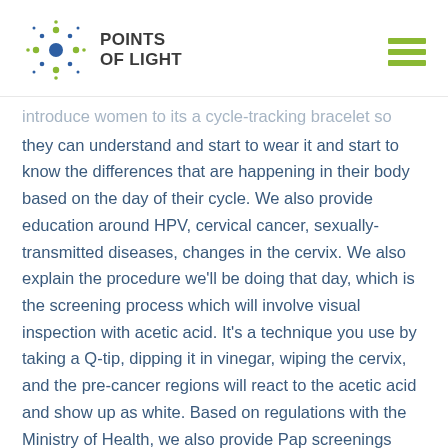POINTS OF LIGHT
introduce women to its a cycle-tracking bracelet so they can understand and start to wear it and start to know the differences that are happening in their body based on the day of their cycle. We also provide education around HPV, cervical cancer, sexually-transmitted diseases, changes in the cervix. We also explain the procedure we'll be doing that day, which is the screening process which will involve visual inspection with acetic acid. It's a technique you use by taking a Q-tip, dipping it in vinegar, wiping the cervix, and the pre-cancer regions will react to the acetic acid and show up as white. Based on regulations with the Ministry of Health, we also provide Pap screenings during that process. If the women are exhibiting lesions that need to be removed, we will provide cryotherapy to remove